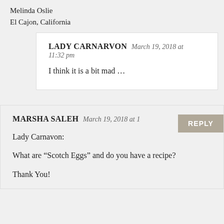Melinda Oslie
El Cajon, California
LADY CARNARVON March 19, 2018 at 11:32 pm

I think it is a bit mad …
MARSHA SALEH March 19, 2018 at 1[…]

Lady Carnavon:

What are “Scotch Eggs” and do you have a recipe?

Thank You!